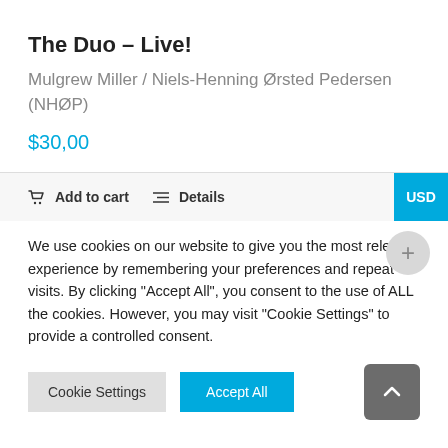The Duo – Live!
Mulgrew Miller / Niels-Henning Ørsted Pedersen (NHØP)
$30,00
Add to cart   Details
We use cookies on our website to give you the most relevant experience by remembering your preferences and repeat visits. By clicking "Accept All", you consent to the use of ALL the cookies. However, you may visit "Cookie Settings" to provide a controlled consent.
Cookie Settings   Accept All